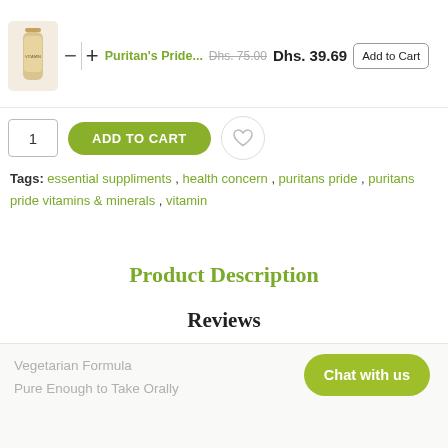Puritan's Pride... Dhs. 75.00 Dhs. 39.69 Add to Cart
1  ADD TO CART
Tags: essential suppliments , health concern , puritans pride , puritans pride vitamins & minerals , vitamin
Product Description
Reviews
Tags
Chat with us
Vegetarian Formula
Pure Enough to Take Orally